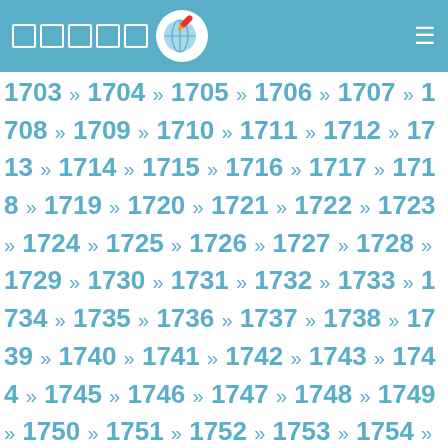Navigation header with logo, squares, globe icon, and hamburger menu
1703 » 1704 » 1705 » 1706 » 1707 » 1708 » 1709 » 1710 » 1711 » 1712 » 1713 » 1714 » 1715 » 1716 » 1717 » 1718 » 1719 » 1720 » 1721 » 1722 » 1723 » 1724 » 1725 » 1726 » 1727 » 1728 » 1729 » 1730 » 1731 » 1732 » 1733 » 1734 » 1735 » 1736 » 1737 » 1738 » 1739 » 1740 » 1741 » 1742 » 1743 » 1744 » 1745 » 1746 » 1747 » 1748 » 1749 » 1750 » 1751 » 1752 » 1753 » 1754 » 1755 » 1756 » 1757 » 1758 » 1759 » 1760 » 1761 » 1762 » 1763 » 1764 » 1765 » 1766 » 1767 » 1768 » 1769 » 1770 » 1771 » 1772 » 1773 » 1774 » 1775 » 1776 » 1777 » 1778 » 1779 » 1780 » 1781 » 1782 » 1783 » 1784 » 1785 » 1786 » 1787 » 1788 » 1789 » 1790 » 1791 » 1792 » 1793 » 1794 » 1795 » 1796 » 1797 » 1798 » 1799 » 1800 » 1801 » 1802 » 1803 » 1804 » 1805 » 1806 » 1807 » 1808 » 1809 » 1810 » 1811 » 1812 » 1813 » 1814 » 1815 » 1816 » 1817 » 1818 » 1819 » 1820 » 1821 » 1822 » 1823 » 1824 » 1825 » 1826 » 1827 » 1828 » 1829 » 1830 » 1831 » 1832 » 1833 » 1834 » 1835 » 1836 » 1837 » 1838 » 1839 » 1840 » 1841 » 1842 » 1843 » 1844 » 1845 » 1846 » 1847 » 1848 » 1849 » 1850 » 1851 » 1852 » 1853 » 1854 » 1855 » 1856 » 1857 » 1858 » 1859 » 1860 » 1861 » 1862 » 1863 » 1864 » 1865 » 1866 » 1867 » 1868 » 1869 » 1870 » 1871 » 1872 » 1873 » 1874 » 1875 » 1876 » 1877 » 1878 » 1879 » 1880 » 1881 » 1882 » 1883 » 1884 » 1885 » 1886 » 1887 » 1888 » 1889 » 1890 » 1891 » 1892 » 1893 » 1894 » 1895 » 1896 » 1897 » 1898 » 1899